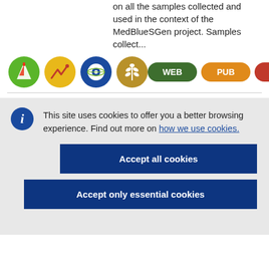on all the samples collected and used in the context of the MedBlueSGen project. Samples collect...
[Figure (infographic): Row of four circular icons (green with flag/mountain, yellow with chart, blue with eye/globe, gold with wheat) on the left, and three pill-shaped tags (WEB in dark green, PUB in orange, DWN in red with underline) on the right]
This site uses cookies to offer you a better browsing experience. Find out more on how we use cookies.